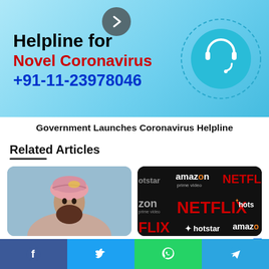[Figure (infographic): Helpline for Novel Coronavirus banner with teal/light blue background, bold text showing helpline details and a headset icon in a dashed circle]
Government Launches Coronavirus Helpline
Related Articles
[Figure (photo): Man wearing a pink turban and beard (Laal Singh Chaddha related)]
[Figure (photo): Streaming services collage showing Netflix, Amazon Prime Video, Hotstar logos on dark background]
Laal Singh Chaddha Said...
What To Watch On Netfli...
[Figure (infographic): Social share bar with Facebook, Twitter, WhatsApp, Telegram buttons]